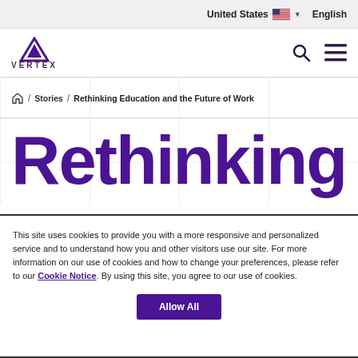United States (flag) ▾  English
[Figure (logo): Vertex logo with purple triangle and VERTEX text]
/ Stories / Rethinking Education and the Future of Work
Rethinking
This site uses cookies to provide you with a more responsive and personalized service and to understand how you and other visitors use our site. For more information on our use of cookies and how to change your preferences, please refer to our Cookie Notice. By using this site, you agree to our use of cookies.